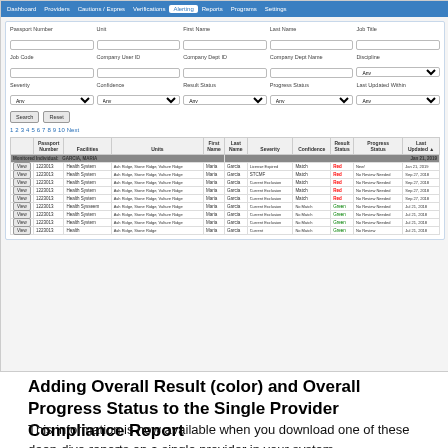[Figure (screenshot): Screenshot of a compliance monitoring web application showing a search form with fields for Passport Number, Unit, First Name, Last Name, Job Title, Job Code, Company User ID, Company Dept ID, Company Dept Name, Discipline, Severity, Confidence, Result Status, Progress Status, Last Updated Within. Below the form is a paginated results table showing records for monitored individual GARCIA, MARIA with columns for Passport Number, Facilities, Units, First Name, Last Name, Severity, Confidence, Result Status, Progress Status, and Last Updated. Multiple rows show data for passport 1223013 with Health System, Ash Ridge/Stone Ridge/Vulture Ridge facilities, various severity and confidence statuses.]
Adding Overall Result (color) and Overall Progress Status to the Single Provider Compliance Report
This information is now available when you download one of these deep-dive reports on a single provider in your system.